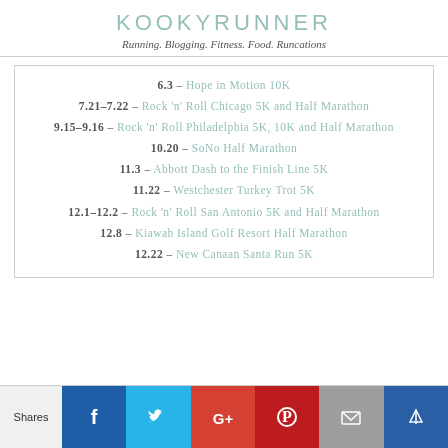KOOKYRUNNER
Running. Blogging. Fitness. Food. Runcations
6.3 – Hope in Motion 10K
7.21–7.22 – Rock 'n' Roll Chicago 5K and Half Marathon
9.15–9.16 – Rock 'n' Roll Philadelphia 5K, 10K and Half Marathon
10.20 – SoNo Half Marathon
11.3 – Abbott Dash to the Finish Line 5K
11.22 – Westchester Turkey Trot 5K
12.1–12.2 – Rock 'n' Roll San Antonio 5K and Half Marathon
12.8 – Kiawah Island Golf Resort Half Marathon
12.22 – New Canaan Santa Run 5K